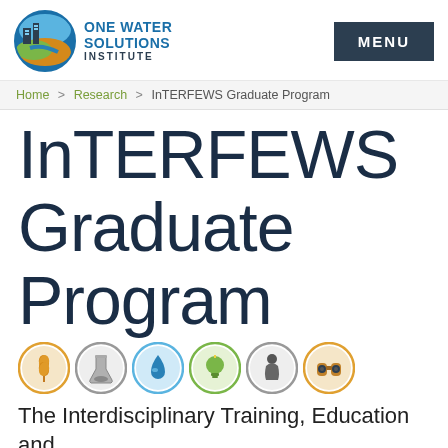[Figure (logo): One Water Solutions Institute circular logo with building and water imagery]
MENU
Home > Research > InTERFEWS Graduate Program
InTERFEWS Graduate Program
[Figure (illustration): Row of six circular icons: wheat/grain (orange), flask/science (grey), water drop (blue), lightbulb (green), person/faucet (grey), binoculars (orange/tan)]
The Interdisciplinary Training, Education and